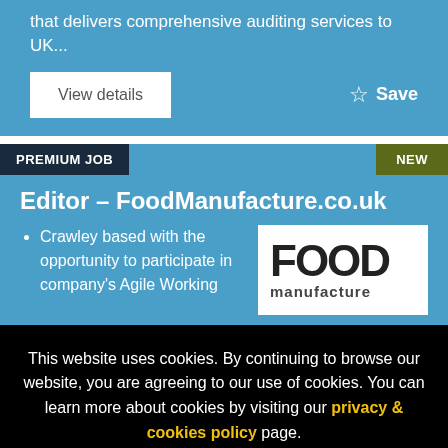that delivers comprehensive auditing services to UK...
View details
Save
PREMIUM JOB
NEW
Editor – FoodManufacture.co.uk
Crawley based with the opportunity to participate in company's Agile Working
[Figure (logo): FOOD manufacture logo in black text on white background]
This website uses cookies. By continuing to browse our website, you are agreeing to our use of cookies. You can learn more about cookies by visiting our privacy & cookies policy page.
I Agree